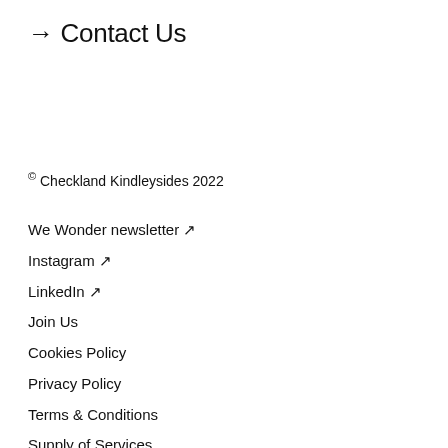→ Contact Us
© Checkland Kindleysides 2022
We Wonder newsletter ↗
Instagram ↗
LinkedIn ↗
Join Us
Cookies Policy
Privacy Policy
Terms & Conditions
Supply of Services
Supplier Terms & Conditions